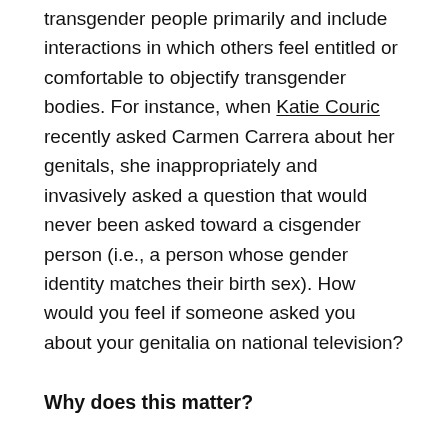transgender people primarily and include interactions in which others feel entitled or comfortable to objectify transgender bodies. For instance, when Katie Couric recently asked Carmen Carrera about her genitals, she inappropriately and invasively asked a question that would never been asked toward a cisgender person (i.e., a person whose gender identity matches their birth sex). How would you feel if someone asked you about your genitalia on national television?
Why does this matter?
All of these microaggressions have a significant impact on people's lives. While some of these experiences may seem brief and harmless, many studies have found that the more that people experience microaggressions, the more likely they are to report